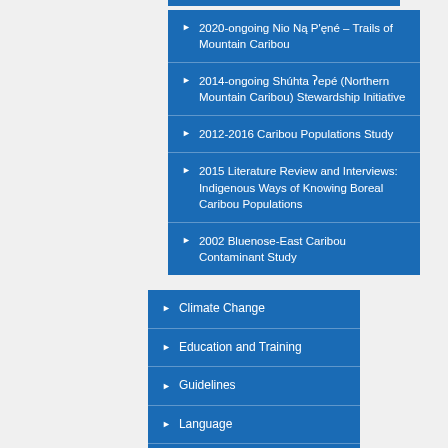2020-ongoing Nio Ną P'ęné – Trails of Mountain Caribou
2014-ongoing Shúhta ʔepé (Northern Mountain Caribou) Stewardship Initiative
2012-2016 Caribou Populations Study
2015 Literature Review and Interviews: Indigenous Ways of Knowing Boreal Caribou Populations
2002 Bluenose-East Caribou Contaminant Study
Climate Change
Education and Training
Guidelines
Language
Mapping